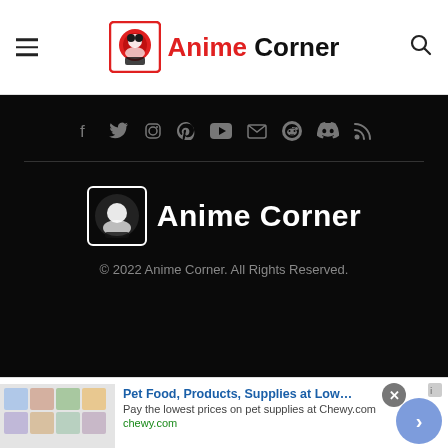Anime Corner
[Figure (logo): Anime Corner website footer with social media icons (Facebook, Twitter, Instagram, Pinterest, YouTube, Email, Reddit, Discord, RSS), horizontal divider, Anime Corner logo (white version), copyright text '© 2022 Anime Corner. All Rights Reserved.']
[Figure (screenshot): Advertisement banner for Chewy.com: 'Pet Food, Products, Supplies at Low Prices - Pay the lowest prices on pet supplies at Chewy.com' with product images and a navigation arrow button]